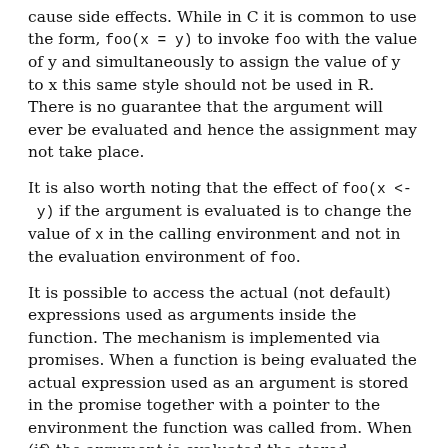cause side effects. While in C it is common to use the form, foo(x = y) to invoke foo with the value of y and simultaneously to assign the value of y to x this same style should not be used in R. There is no guarantee that the argument will ever be evaluated and hence the assignment may not take place.
It is also worth noting that the effect of foo(x <- y) if the argument is evaluated is to change the value of x in the calling environment and not in the evaluation environment of foo.
It is possible to access the actual (not default) expressions used as arguments inside the function. The mechanism is implemented via promises. When a function is being evaluated the actual expression used as an argument is stored in the promise together with a pointer to the environment the function was called from. When (if) the argument is evaluated the stored expression is evaluated in the environment that the function was called from. Since only a pointer to the environment is used any changes made to that environment will be in effect during this evaluation. The resulting value is then also stored in a separate spot in the promise. Subsequent evaluations retrieve this stored value (a second evaluation is not carried out). Access to the unevaluated expression is also available using substitute.
When a function is called, each formal argument is assigned a